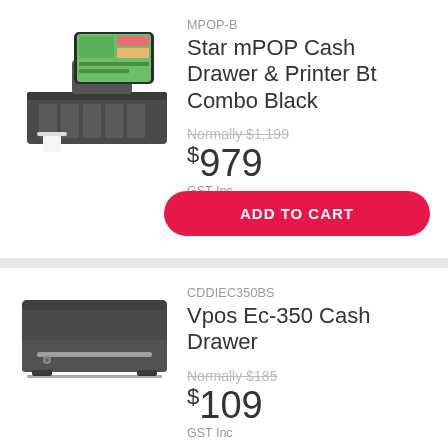[Figure (photo): Star mPOP Cash Drawer and Printer combo device with tablet display, black color]
MPOP-B
Star mPOP Cash Drawer & Printer Bt Combo Black
Normally $1,199
$979
GST Inc
ADD TO CART
[Figure (photo): Vpos Ec-350 Cash Drawer, flat rectangular black cash drawer]
CDDIEC350BS
Vpos Ec-350 Cash Drawer
Normally $185
$109
GST Inc
Leave a message